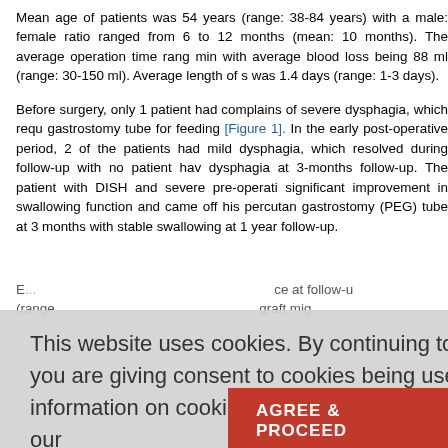Mean age of patients was 54 years (range: 38-84 years) with a male: female ratio ranged from 6 to 12 months (mean: 10 months). The average operation time ranged min with average blood loss being 88 ml (range: 30-150 ml). Average length of stay was 1.4 days (range: 1-3 days).
Before surgery, only 1 patient had complains of severe dysphagia, which required a gastrostomy tube for feeding [Figure 1]. In the early post-operative period, 2 of the patients had mild dysphagia, which resolved during follow-up with no patient having dysphagia at 3-months follow-up. The patient with DISH and severe pre-operative significant improvement in swallowing function and came off his percutaneous gastrostomy (PEG) tube at 3 months with stable swallowing at 1 year follow-up.
E... ce at follow-up ... graft subside ... graft migration...
All patients... 30 months and were assessed for presence or absence of operation (>2 years) were defined as fused and 93% of patients (15/... fusion [Figure 5]. One patient who had additional segment disease... following a prior in the post developed... at 12-month follow-up and underwent surgery. There were... complications. One patient each had... extremity proprioceptive changes and urinary retention that resolved within 24 h... long-term sequel.